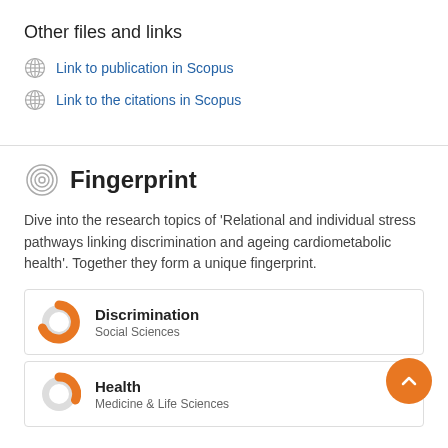Other files and links
Link to publication in Scopus
Link to the citations in Scopus
Fingerprint
Dive into the research topics of 'Relational and individual stress pathways linking discrimination and ageing cardiometabolic health'. Together they form a unique fingerprint.
Discrimination
Social Sciences
Health
Medicine & Life Sciences